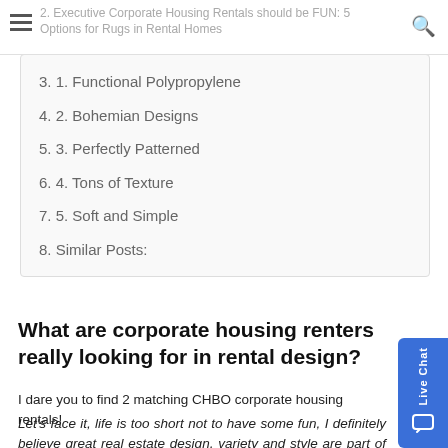2. Executive Corporate Housing Rentals should be FUN: 5 Options for Rugs in Rental Homes
3. 1. Functional Polypropylene
4. 2. Bohemian Designs
5. 3. Perfectly Patterned
6. 4. Tons of Texture
7. 5. Soft and Simple
8. Similar Posts:
What are corporate housing renters really looking for in rental design?
I dare you to find 2 matching CHBO corporate housing rentals!
Let's face it, life is too short not to have some fun, I definitely believe great real estate design, variety and style are part of my definition of fun. You should have fun with your corporate housing executive rental. You should expect more. You should have the choice of trying something new, something that is fun or just something that you love. If you are like me then you will